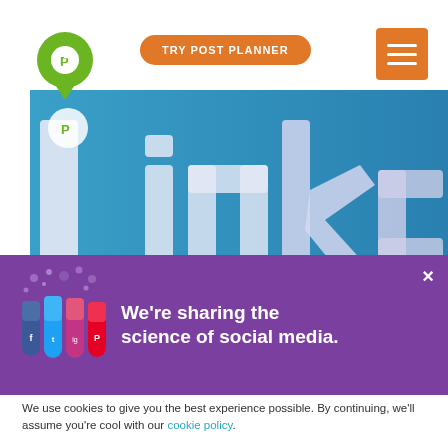The 23 Types of Social Media Content You
[Figure (logo): Post Planner green pin/location marker logo with white P letter]
TRY POST PLANNER
[Figure (other): Orange hamburger menu icon (three horizontal white lines on orange background)]
[Figure (photo): 3D LinkedIn logo text in white/silver on a bright blue background, with Post Planner logo watermark in top left corner]
We're sharing the science of social media.
We use cookies to give you the best experience possible. By continuing, we'll assume you're cool with our cookie policy.
Accept